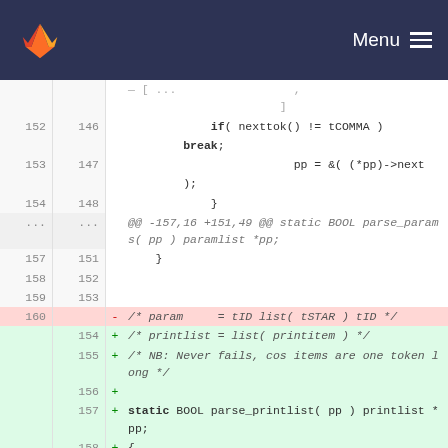GitLab — Menu
[Figure (screenshot): GitLab code diff view showing changes to a C file with line numbers, removed lines (red background) and added lines (green background). Context includes if/break, pp assignment, closing braces, hunk header for parse_params, and new parse_printlist function code.]